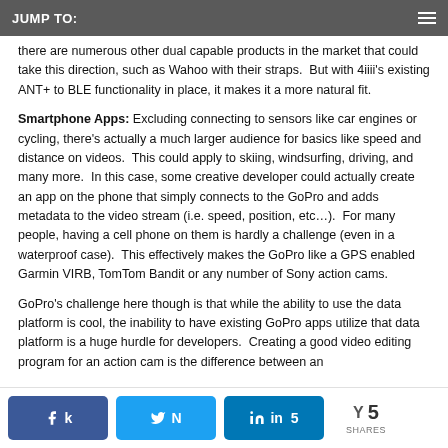JUMP TO:
there are numerous other dual capable products in the market that could take this direction, such as Wahoo with their straps.  But with 4iiii's existing ANT+ to BLE functionality in place, it makes it a more natural fit.
Smartphone Apps: Excluding connecting to sensors like car engines or cycling, there's actually a much larger audience for basics like speed and distance on videos.  This could apply to skiing, windsurfing, driving, and many more.  In this case, some creative developer could actually create an app on the phone that simply connects to the GoPro and adds metadata to the video stream (i.e. speed, position, etc…).  For many people, having a cell phone on them is hardly a challenge (even in a waterproof case).  This effectively makes the GoPro like a GPS enabled Garmin VIRB, TomTom Bandit or any number of Sony action cams.
GoPro's challenge here though is that while the ability to use the data platform is cool, the inability to have existing GoPro apps utilize that data platform is a huge hurdle for developers.  Creating a good video editing program for an action cam is the difference between an